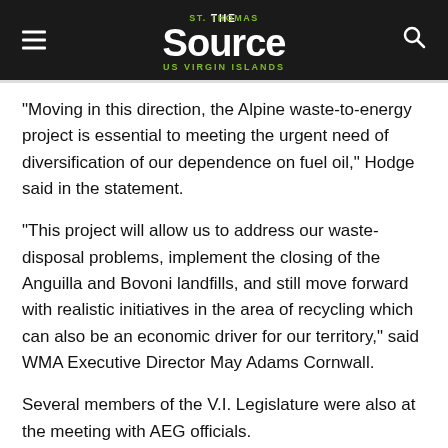THE St. Thomas Source US VIRGIN ISLANDS
“Moving in this direction, the Alpine waste-to-energy project is essential to meeting the urgent need of diversification of our dependence on fuel oil,” Hodge said in the statement.
"This project will allow us to address our waste-disposal problems, implement the closing of the Anguilla and Bovoni landfills, and still move forward with realistic initiatives in the area of recycling which can also be an economic driver for our territory," said WMA Executive Director May Adams Cornwall.
Several members of the V.I. Legislature were also at the meeting with AEG officials.
Construction can begin 120 days after the Legislature grants